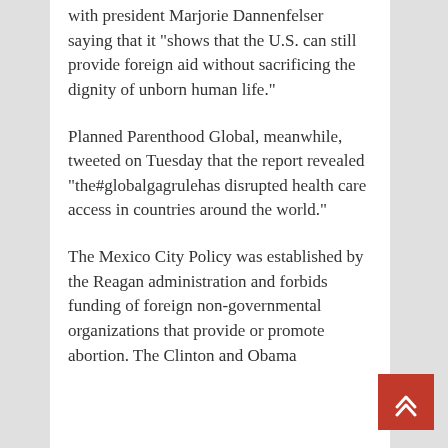with president Marjorie Dannenfelser saying that it “shows that the U.S. can still provide foreign aid without sacrificing the dignity of unborn human life.”
Planned Parenthood Global, meanwhile, tweeted on Tuesday that the report revealed “the#globalgagrulehas disrupted health care access in countries around the world.”
The Mexico City Policy was established by the Reagan administration and forbids funding of foreign non-governmental organizations that provide or promote abortion. The Clinton and Obama